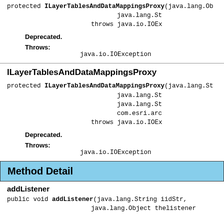protected ILayerTablesAndDataMappingsProxy(java.lang.Ob java.lang.St throws java.io.IOEx
Deprecated.
Throws:
    java.io.IOException
ILayerTablesAndDataMappingsProxy
protected ILayerTablesAndDataMappingsProxy(java.lang.St java.lang.St java.lang.St com.esri.arc throws java.io.IOEx
Deprecated.
Throws:
    java.io.IOException
Method Detail
addListener
public void addListener(java.lang.String iidStr, java.lang.Object thelistener